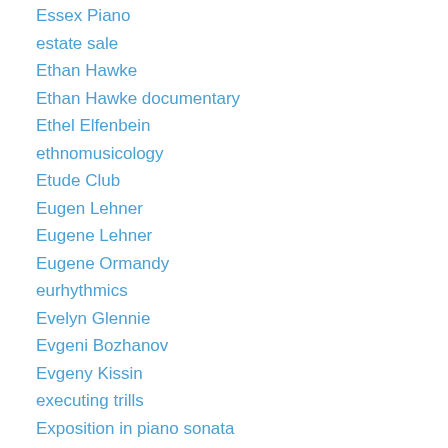Essex Piano
estate sale
Ethan Hawke
Ethan Hawke documentary
Ethel Elfenbein
ethnomusicology
Etude Club
Eugen Lehner
Eugene Lehner
Eugene Ormandy
eurhythmics
Evelyn Glennie
Evgeni Bozhanov
Evgeny Kissin
executing trills
Exposition in piano sonata
Exterior Street in the Bronx
f minor scale in contrary motion
F Sharp Major scale
F# Major scale